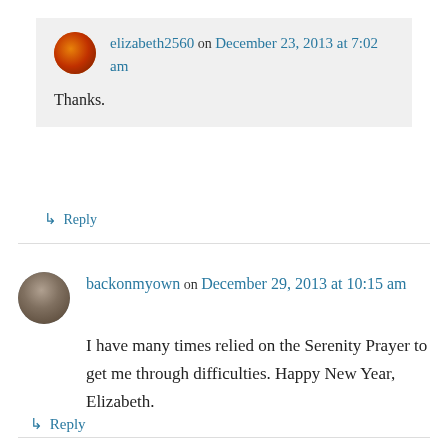elizabeth2560 on December 23, 2013 at 7:02 am
Thanks.
↳ Reply
backonmyown on December 29, 2013 at 10:15 am
I have many times relied on the Serenity Prayer to get me through difficulties. Happy New Year, Elizabeth.
↳ Reply